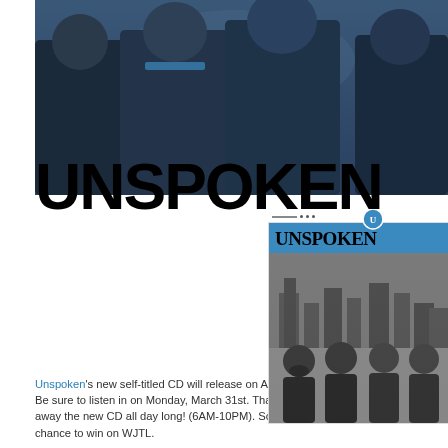[Figure (photo): Band photo of Unspoken - four men in denim jackets against a blue/dark background, partial crop at top of page]
UNSPOKEN
[Figure (photo): Album cover for Unspoken self-titled CD: blue header bar with UNSPOKEN text and band logo, black and white photo of four band members with city skyline behind them]
Unspoken's new self-titled CD will release on April 1st (no foolin', we promise)!  Be sure to listen in on Monday, March 31st.  Thanks to Centricity Music, we have away the new CD all day long! (6AM-10PM).  So, program 717-392-3690 into you chance to win on WJTL.